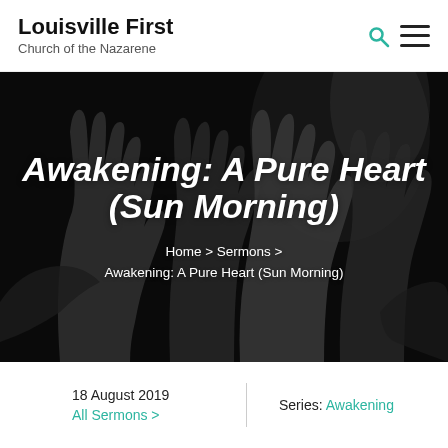Louisville First Church of the Nazarene
Awakening: A Pure Heart (Sun Morning)
Home > Sermons > Awakening: A Pure Heart (Sun Morning)
18 August 2019
All Sermons >
Series: Awakening